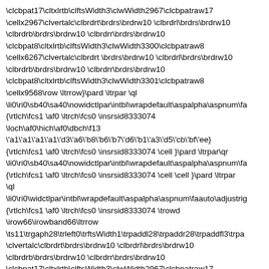\clcbpat17\cltxlrtb\clftsWidth3\clwWidth2967\clcbpatraw17
\cellx2967\clvertalc\clbrdrt\brdrs\brdrw10 \clbrdrl\brdrs\brdrw10
\clbrdrb\brdrs\brdrw10 \clbrdrr\brdrs\brdrw10
\clcbpat8\cltxlrtb\clftsWidth3\clwWidth3300\clcbpatraw8
\cellx6267\clvertalc\clbrdrt \brdrs\brdrw10 \clbrdrl\brdrs\brdrw10
\clbrdrb\brdrs\brdrw10 \clbrdrr\brdrs\brdrw10
\clcbpat8\cltxlrtb\clftsWidth3\clwWidth3301\clcbpatraw8
\cellx9568\row \ltrrow}\pard \ltrpar \ql
\li0\ri0\sb40\sa40\nowidctlpar\intbl\wrapdefault\aspalpha\aspnum\fa
{\rtlch\fcs1 \af0 \ltrch\fcs0 \insrsid8333074
\loch\af0\hich\af0\dbch\f13
\'a1\'a1\'a1\'a1\'d3\'a6\'b8\'b6\'b7\'d6\'b1\'a3\'d5\'cb\'bf\'ee}
{\rtlch\fcs1 \af0 \ltrch\fcs0 \insrsid8333074 \cell }\pard \ltrpar\qr
\li0\ri0\sb40\sa40\nowidctlpar\intbl\wrapdefault\aspalpha\aspnum\fa
{\rtlch\fcs1 \af0 \ltrch\fcs0 \insrsid8333074 \cell \cell }\pard \ltrpar
\ql
\li0\ri0\widctlpar\intbl\wrapdefault\aspalpha\aspnum\faauto\adjustrig
{\rtlch\fcs1 \af0 \ltrch\fcs0 \insrsid8333074 \trowd
\irow66\irowband66\ltrrow
\ts11\trgaph28\trleft0\trftsWidth1\trpaddl28\trpaddr28\trpaddfl3\trpa
\clvertalc\clbrdrt\brdrs\brdrw10 \clbrdrl\brdrs\brdrw10
\clbrdrb\brdrs\brdrw10 \clbrdrr\brdrs\brdrw10
\clcbpat17\cltxlrtb\clftsWidth3\clwWidth2967\clcbpatraw17
\cellx2967\clvertalc\clbrdrt\brdrs\brdrw10 \clbrdrl\brdrs\brdrw10
\clbrdrb\brdrs\brdrw10 \clbrdrr\brdrs\brdrw10